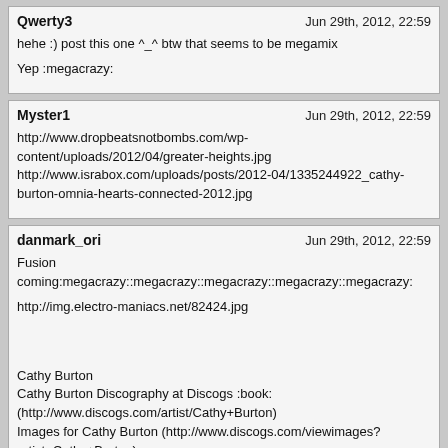Qwerty3 | Jun 29th, 2012, 22:59
hehe :) post this one ^_^ btw that seems to be megamix
Yep :megacrazy:
Myster1 | Jun 29th, 2012, 22:59
http://www.dropbeatsnotbombs.com/wp-content/uploads/2012/04/greater-heights.jpg
http://www.israbox.com/uploads/posts/2012-04/1335244922_cathy-burton-omnia-hearts-connected-2012.jpg
danmark_ori | Jun 29th, 2012, 22:59
Fusion coming:megacrazy::megacrazy::megacrazy::megacrazy::megacrazy:
http://img.electro-maniacs.net/82424.jpg
Cathy Burton
Cathy Burton Discography at Discogs :book: (http://www.discogs.com/artist/Cathy+Burton)
Images for Cathy Burton (http://www.discogs.com/viewimages?artist=Cathy+Burton)
Real Name: Cathy Louise Burton
Profile: Singer and songwriter